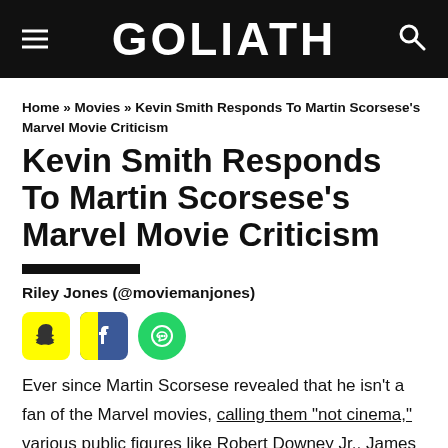GOLIATH
Home » Movies » Kevin Smith Responds To Martin Scorsese's Marvel Movie Criticism
Kevin Smith Responds To Martin Scorsese's Marvel Movie Criticism
Riley Jones (@moviemanjones)
[Figure (infographic): Social media share icons: Snapchat (yellow), Facebook (blue with yellow stripe), WhatsApp (green circle)]
Ever since Martin Scorsese revealed that he isn't a fan of the Marvel movies, calling them "not cinema," various public figures like Robert Downey Jr., James Gunn, Joss Whedon, and Samuel L. Jackson were quick to come to